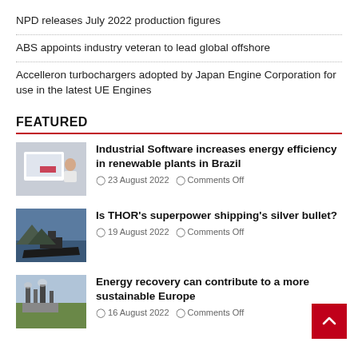NPD releases July 2022 production figures
ABS appoints industry veteran to lead global offshore
Accelleron turbochargers adopted by Japan Engine Corporation for use in the latest UE Engines
FEATURED
[Figure (photo): Person working at computer with software interface]
Industrial Software increases energy efficiency in renewable plants in Brazil
23 August 2022   Comments Off
[Figure (photo): Ship in ocean with dramatic sky]
Is THOR's superpower shipping's silver bullet?
19 August 2022   Comments Off
[Figure (photo): Industrial plant with smokestacks in green field]
Energy recovery can contribute to a more sustainable Europe
16 August 2022   Comments Off